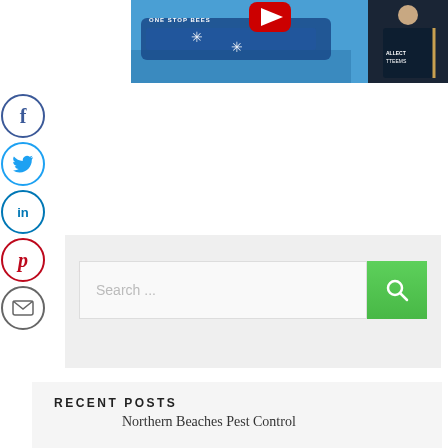[Figure (screenshot): Top portion of a webpage showing a YouTube video thumbnail with a pest control branded vehicle and a uniformed person, with social media sharing icons (Facebook, Twitter, LinkedIn, Pinterest, Email) on the left side]
[Figure (screenshot): Search bar widget with a text input showing placeholder 'Search ...' and a green search button with magnifying glass icon, on a light grey background]
RECENT POSTS
Northern Beaches Pest Control